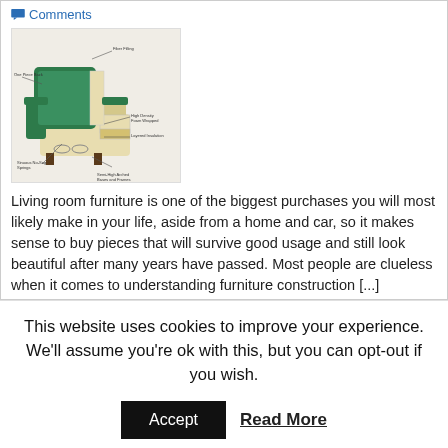Comments
[Figure (illustration): Cross-section diagram of a recliner chair showing internal construction, foam layers, spring system, and labeled components]
Living room furniture is one of the biggest purchases you will most likely make in your life, aside from a home and car, so it makes sense to buy pieces that will survive good usage and still look beautiful after many years have passed. Most people are clueless when it comes to understanding furniture construction [...]
This website uses cookies to improve your experience. We'll assume you're ok with this, but you can opt-out if you wish.
Accept
Read More